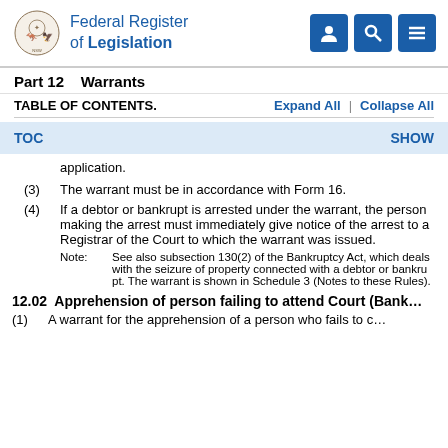Federal Register of Legislation
Part 12    Warrants
TABLE OF CONTENTS.    Expand All  |  Collapse All
TOC    SHOW
application.
(3)  The warrant must be in accordance with Form 16.
(4)  If a debtor or bankrupt is arrested under the warrant, the person making the arrest must immediately give notice of the arrest to a Registrar of the Court to which the warrant was issued.
Note:   See also subsection 130(2) of the Bankruptcy Act, which deals with the seizure of property connected with a debtor or bankrupt. The warrant is shown in Schedule 3 (Notes to these Rules).
12.02  Apprehension of person failing to attend Court (Bank...
(1)  A warrant for the apprehension of a person who fails to c...